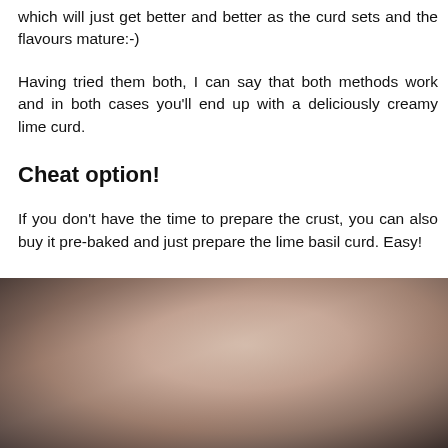which will just get better and better as the curd sets and the flavours mature:-)
Having tried them both, I can say that both methods work and in both cases you'll end up with a deliciously creamy lime curd.
Cheat option!
If you don't have the time to prepare the crust, you can also buy it pre-baked and just prepare the lime basil curd. Easy!
[Figure (photo): Close-up photo of what appears to be a tart or pastry, shot in low light with dark background]